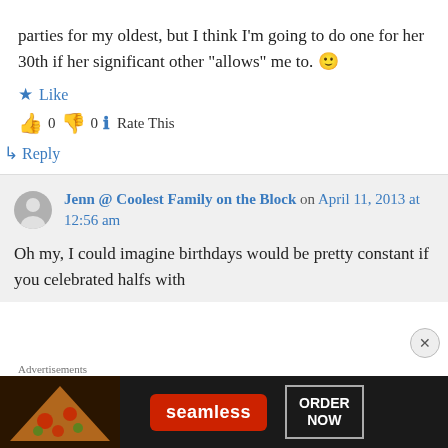parties for my oldest, but I think I'm going to do one for her 30th if her significant other "allows" me to. 🙂
Like
👍 0 👎 0 ℹ Rate This
↳ Reply
Jenn @ Coolest Family on the Block on April 11, 2013 at 12:56 am
Oh my, I could imagine birthdays would be pretty constant if you celebrated halfs with
[Figure (other): Seamless food delivery advertisement banner with pizza image, Seamless logo, and ORDER NOW button]